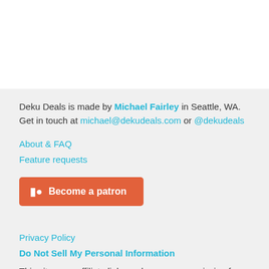Deku Deals is made by Michael Fairley in Seattle, WA. Get in touch at michael@dekudeals.com or @dekudeals
About & FAQ
Feature requests
[Figure (other): Patreon button: Become a patron]
Privacy Policy
Do Not Sell My Personal Information
This site uses affiliate links and earns a commission from certain links. This does not affect your purchases or the price you may pay. As an Amazon Associate I earn from qualifying purchases.